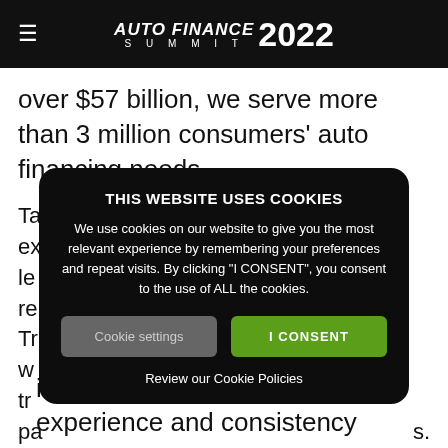AUTO FINANCE SUMMIT 2022
over $57 billion, we serve more than 3 million consumers' auto financing needs.
Ta ex le re Tr w tr pa s. Pr Un
[Figure (screenshot): Cookie consent modal overlay on a dark background with title 'THIS WEBSITE USES COOKIES', body text about cookie usage, two buttons ('Cookie settings' and 'I CONSENT'), and a 'Review our Cookie Policies' link.]
improving the customer experience and consistency